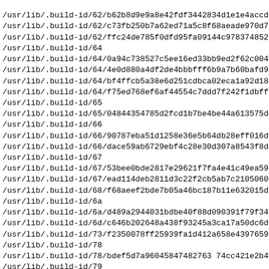/usr/lib/.build-id/62/b62b8d9e9a8e42fdf3442834d1e1e4accd
/usr/lib/.build-id/62/c73fb250b7a62ed71a5c8f68aeade970d7c
/usr/lib/.build-id/62/ffc24de785f0dfd95fa09144c97837485271
/usr/lib/.build-id/64
/usr/lib/.build-id/64/0a94c738527c5ee16ed33bb9ed2f62c004d
/usr/lib/.build-id/64/4e0d880a4df2de4bbbfff6b9a7b60bafd91
/usr/lib/.build-id/64/bf4ffcb5a38e6d251cdbca02eca1a92d18e
/usr/lib/.build-id/64/f75ed768ef6af44554c7ddd7f242f1dbff3
/usr/lib/.build-id/65
/usr/lib/.build-id/65/04844354785d2fcd1b7be4be44a613575d0
/usr/lib/.build-id/66
/usr/lib/.build-id/66/90787eba51d1258e36e5b64db28eff016da
/usr/lib/.build-id/66/dace59ab6729ebf4c28e30d307a8543f8d9
/usr/lib/.build-id/67
/usr/lib/.build-id/67/53bee0bde2817e29621f7fa4e41c49ea596
/usr/lib/.build-id/67/ead114deb2811d3c22f2cb5ab7c210506060
/usr/lib/.build-id/68/f68aeef2bde7b05a46bc187b11e632015d8
/usr/lib/.build-id/6a
/usr/lib/.build-id/6a/d489a2944031bdbe40f88d090391f79f343
/usr/lib/.build-id/6d/c646b202648a438f93245a3ca17a50dc6d0
/usr/lib/.build-id/73/f2350078ff25939fa1d412a658e4397659a
/usr/lib/.build-id/78
/usr/lib/.build-id/78/bdef5d7a96045847482763 74cc421e2b48e
/usr/lib/.build-id/79
/usr/lib/.build-id/79/123e0d74eec1e4a132b22db6ff98cec2cd7
/usr/lib/.build-id/7a/86d1fe1feb9068d20d25924644173a69413
/usr/lib/.build-id/7c
/usr/lib/.build-id/7c/76b2dd012b5dd24594264b05351e87f69c1
/usr/lib/.build-id/7c/83c6c438de608ebf0c1adfe42cb4799aff3
/usr/lib/.build-id/7d